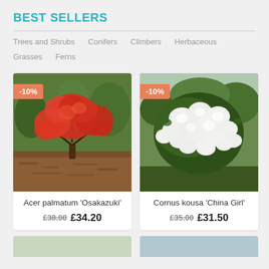BEST SELLERS
Trees and Shrubs
Conifers
Climbers
Herbaceous
Grasses
Ferns
[Figure (photo): Acer palmatum 'Osakazuki' - Japanese maple tree with brilliant red autumn foliage against green background, with -10% discount badge]
Acer palmatum 'Osakazuki'
£38.00 £34.20
[Figure (photo): Cornus kousa 'China Girl' - flowering dogwood shrub covered in white flowers against green background, with -10% discount badge]
Cornus kousa 'China Girl'
£35.00 £31.50